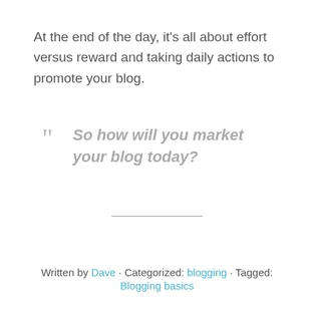At the end of the day, it's all about effort versus reward and taking daily actions to promote your blog.
“ So how will you market your blog today?
Written by Dave · Categorized: blogging · Tagged: Blogging basics